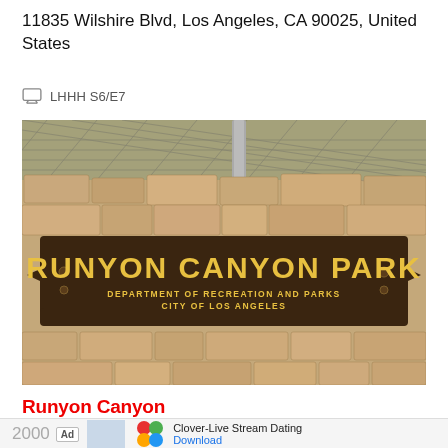11835 Wilshire Blvd, Los Angeles, CA 90025, United States
LHHH S6/E7
[Figure (photo): Photo of the Runyon Canyon Park wooden sign on a stone wall. The sign reads 'RUNYON CANYON PARK' in large yellow letters, with 'DEPARTMENT OF RECREATION AND PARKS CITY OF LOS ANGELES' in smaller yellow letters below. Chain-link fence visible at top.]
Runyon Canyon
Ad   Clover-Live Stream Dating   Download